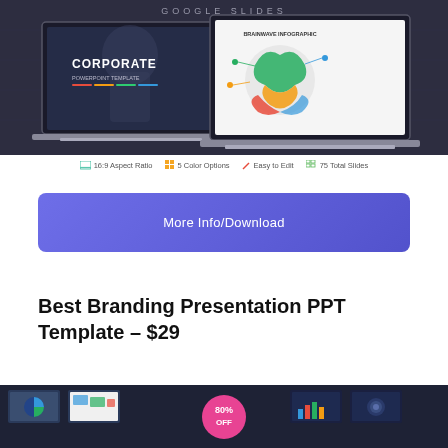[Figure (screenshot): Two laptops on dark background showing Corporate PowerPoint Template slides]
16:9 Aspect Ratio   5 Color Options   Easy to Edit   75 Total Slides
More Info/Download
Best Branding Presentation PPT Template – $29
[Figure (screenshot): Preview thumbnails of branding presentation slides with 80% OFF badge]